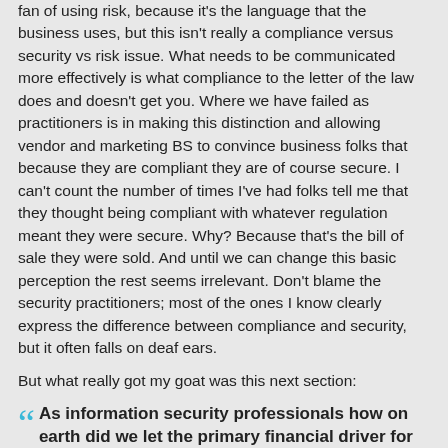fan of using risk, because it's the language that the business uses, but this isn't really a compliance versus security vs risk issue. What needs to be communicated more effectively is what compliance to the letter of the law does and doesn't get you. Where we have failed as practitioners is in making this distinction and allowing vendor and marketing BS to convince business folks that because they are compliant they are of course secure. I can't count the number of times I've had folks tell me that they thought being compliant with whatever regulation meant they were secure. Why? Because that's the bill of sale they were sold. And until we can change this basic perception the rest seems irrelevant. Don't blame the security practitioners; most of the ones I know clearly express the difference between compliance and security, but it often falls on deaf ears.
But what really got my goat was this next section:
As information security professionals how on earth did we let the primary financial driver for security spending be compliance initiatives? We sold our souls because we checked the checkbox of the business and…